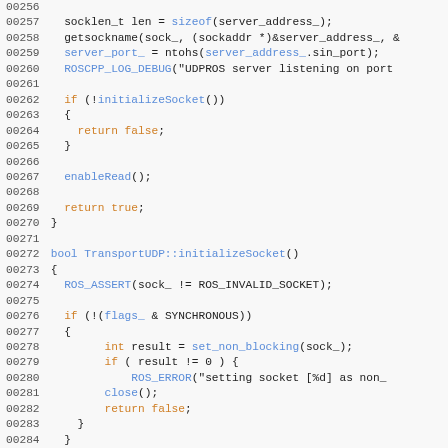[Figure (screenshot): Source code listing showing C++ code for UDP transport socket initialization, lines 00256-00286, with syntax highlighting (line numbers in gray, keywords in orange, function names in blue).]